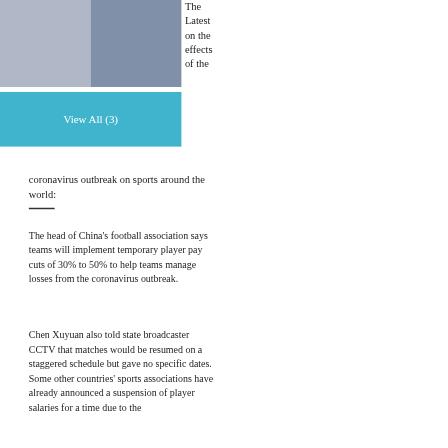[Figure (photo): Two photos side by side: left shows a person at a gate with a red circle sign, right shows a crowd celebrating with a championship banner]
The Latest on the effects of the
View All (3)
coronavirus outbreak on sports around the world:
The head of China’s football association says teams will implement temporary player pay cuts of 30% to 50% to help teams manage losses from the coronavirus outbreak.
Chen Xuyuan also told state broadcaster CCTV that matches would be resumed on a staggered schedule but gave no specific dates. Some other countries’ sports associations have already announced a suspension of player salaries for a time due to the